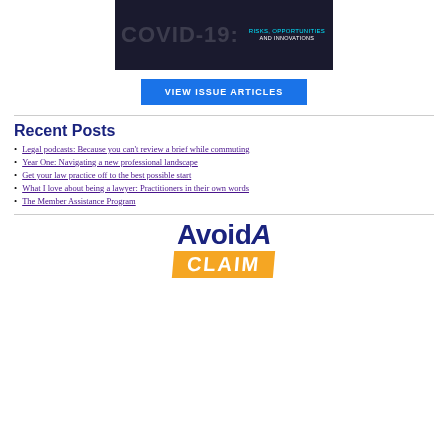[Figure (photo): COVID-19 book or magazine cover with dark background, showing 'RISKS, OPPORTUNITIES AND INNOVATIONS' text and a walking figure silhouette]
VIEW ISSUE ARTICLES
Recent Posts
Legal podcasts: Because you can't review a brief while commuting
Year One: Navigating a new professional landscape
Get your law practice off to the best possible start
What I love about being a lawyer: Practitioners in their own words
The Member Assistance Program
[Figure (logo): AvoidA Claim logo with blue bold text 'AvoidA' and orange banner with 'CLAIM']